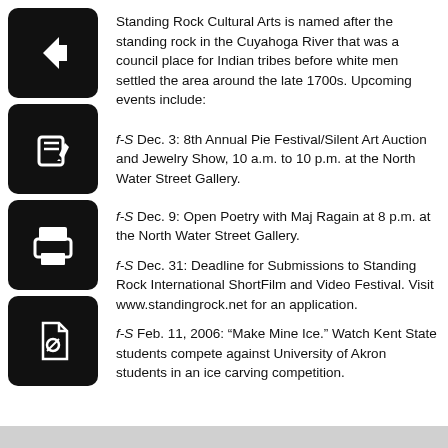[Figure (screenshot): Black rounded square icon with a left-pointing arrow (back navigation button)]
Standing Rock Cultural Arts is named after the standing rock in the Cuyahoga River that was a council place for Indian tribes before white men settled the area around the late 1700s. Upcoming events include:
[Figure (screenshot): Black rounded square icon with a pencil/edit icon]
f-S Dec. 3: 8th Annual Pie Festival/Silent Art Auction and Jewelry Show, 10 a.m. to 10 p.m. at the North Water Street Gallery.
[Figure (screenshot): Black rounded square icon with a printer icon]
f-S Dec. 9: Open Poetry with Maj Ragain at 8 p.m. at the North Water Street Gallery.
[Figure (screenshot): Black rounded square icon with a PDF/document icon]
f-S Dec. 31: Deadline for Submissions to Standing Rock International ShortFilm and Video Festival. Visit www.standingrock.net for an application.
f-S Feb. 11, 2006: “Make Mine Ice.” Watch Kent State students compete against University of Akron students in an ice carving competition.